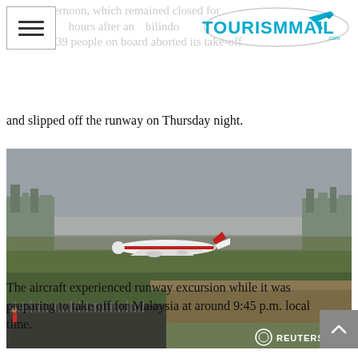TOURISMMAIL
Friday afternoon, which remained closed for thirteen hours after an aircraft of Malindo Air with 139 people on board aborted its take-off and slipped off the runway on Thursday night.
[Figure (photo): Aerial view of a Malindo Air aircraft that has slipped off the runway at an airport, with crowds of onlookers gathering. Reuters photo credit.]
The aircraft experienced runway excursion while it was preparing to take off for Malaysia at around 9:45 p.m. local time.